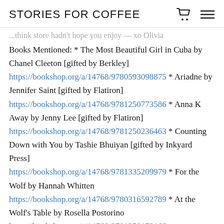STORIES FOR COFFEE
...think store hadn't hope you enjoy — xo Olivia Books Mentioned: * The Most Beautiful Girl in Cuba by Chanel Cleeton [gifted by Berkley] https://bookshop.org/a/14768/9780593098875 * Ariadne by Jennifer Saint [gifted by Flatiron] https://bookshop.org/a/14768/9781250773586 * Anna K Away by Jenny Lee [gifted by Flatiron] https://bookshop.org/a/14768/9781250236463 * Counting Down with You by Tashie Bhuiyan [gifted by Inkyard Press] https://bookshop.org/a/14768/9781335209979 * For the Wolf by Hannah Whitten https://bookshop.org/a/14768/9780316592789 * At the Wolf's Table by Rosella Postorino https://bookshop.org/a/14768/9781250179166